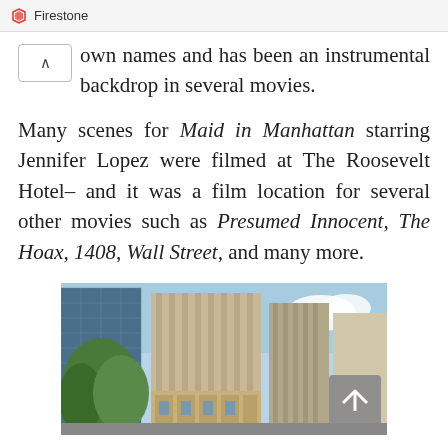Firestone
own names and has been an instrumental backdrop in several movies.
Many scenes for Maid in Manhattan starring Jennifer Lopez were filmed at The Roosevelt Hotel– and it was a film location for several other movies such as Presumed Innocent, The Hoax, 1408, Wall Street, and many more.
[Figure (photo): Photograph of a tall modern hotel building (The Roosevelt Hotel) with glass skyscrapers in the background and trees in the foreground, taken from street level looking up.]